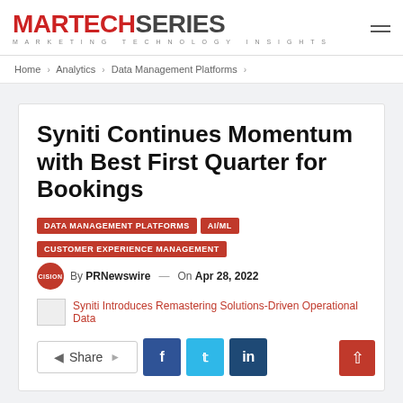[Figure (logo): MartechSeries logo — MARTECH in red, SERIES in dark grey, with subtitle MARKETING TECHNOLOGY INSIGHTS]
Home > Analytics > Data Management Platforms >
Syniti Continues Momentum with Best First Quarter for Bookings
DATA MANAGEMENT PLATFORMS
AI/ML
CUSTOMER EXPERIENCE MANAGEMENT
By PRNewswire — On Apr 28, 2022
Syniti Introduces Remastering Solutions-Driven Operational Data
Share